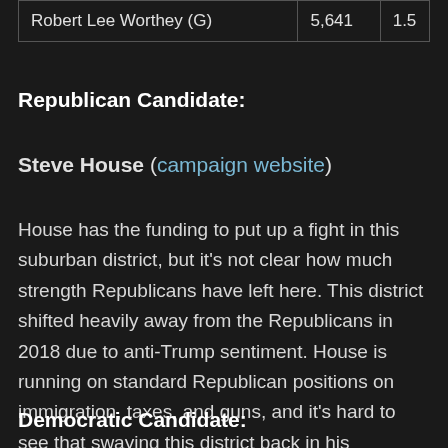| Robert Lee Worthey (G) | 5,641 | 1.5 |
Republican Candidate:
Steve House (campaign website)
House has the funding to put up a fight in this suburban district, but it's not clear how much strength Republicans have left here. This district shifted heavily away from the Republicans in 2018 due to anti-Trump sentiment. House is running on standard Republican positions on immigration, taxes, and guns, and it's hard to see that swaying this district back in his direction.
Democratic Candidate: